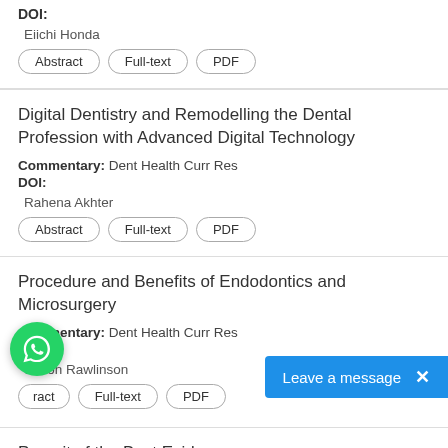DOI:
Eiichi Honda
Abstract   Full-text   PDF
Digital Dentistry and Remodelling the Dental Profession with Advanced Digital Technology
Commentary: Dent Health Curr Res
DOI:
Rahena Akhter
Abstract   Full-text   PDF
Procedure and Benefits of Endodontics and Microsurgery
Commentary: Dent Health Curr Res
DOI:
Simon Rawlinson
Abstract   Full-text   PDF
Pursuit of the Best Evidence for Treatment for Temporomandibular...